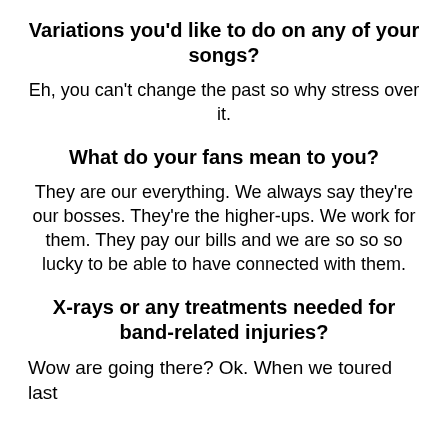Variations you'd like to do on any of your songs?
Eh, you can't change the past so why stress over it.
What do your fans mean to you?
They are our everything. We always say they're our bosses. They're the higher-ups. We work for them. They pay our bills and we are so so so lucky to be able to have connected with them.
X-rays or any treatments needed for band-related injuries?
Wow are going there? Ok. When we toured last